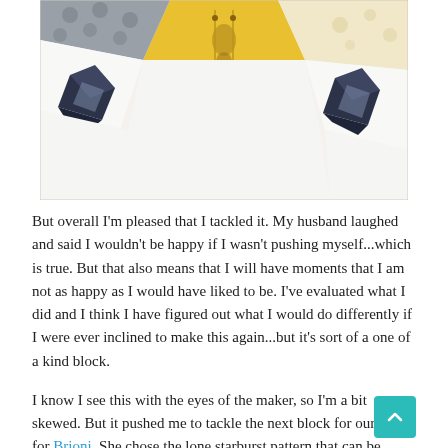[Figure (photo): Close-up photo of a quilt block featuring white hexagonal shapes with yellow/gold guitar-print fabric, white floral fabric, dark navy/grey patterned diamond accents, and geometric patchwork design on a white background.]
But overall I'm pleased that I tackled it. My husband laughed and said I wouldn't be happy if I wasn't pushing myself...which is true. But that also means that I will have moments that I am not as happy as I would have liked to be. I've evaluated what I did and I think I have figured out what I would do differently if I were ever inclined to make this again...but it's sort of a one of a kind block.
I know I see this with the eyes of the maker, so I'm a bit skewed. But it pushed me to tackle the next block for our bee for Brioni. She chose the lone starburst pattern that can be